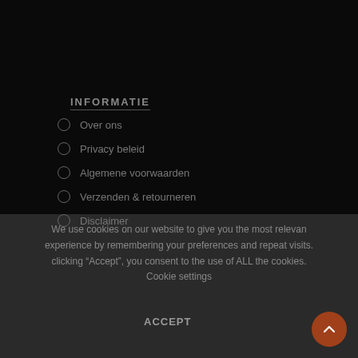INFORMATIE
Over ons
Privacy beleid
Algemene voorwaarden
Verzenden & retourneren
Disclaimer
We use cookies on our website to give you the most relevant experience by remembering your preferences and repeat visits. By clicking “Accept”, you consent to the use of ALL the cookies. Cookie settings
ACCEPT